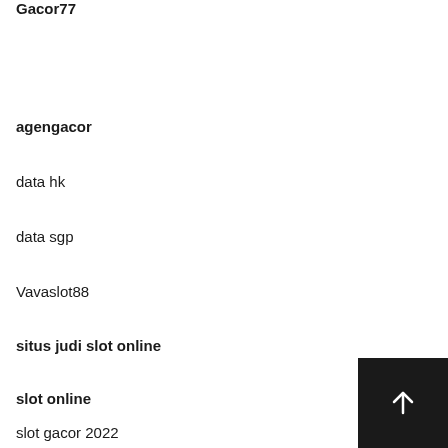Gacor77
agengacor
data hk
data sgp
Vavaslot88
situs judi slot online
slot online
slot gacor 2022